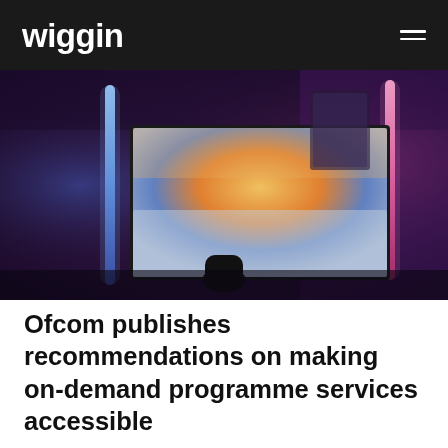wiggin
[Figure (photo): A dark room with a television screen showing a sunset scene, flanked by blue and pink neon light strips, with a remote control in the foreground.]
Ofcom publishes recommendations on making on-demand programme services accessible